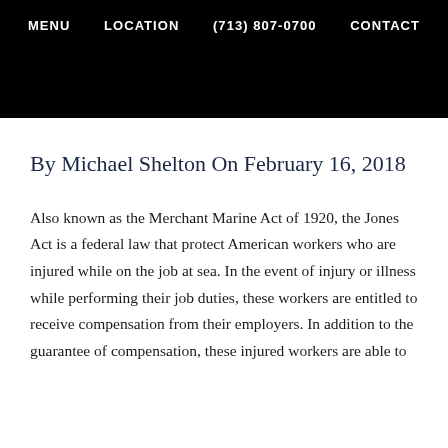MENU   LOCATION   (713) 807-0700   CONTACT
By Michael Shelton On February 16, 2018
Also known as the Merchant Marine Act of 1920, the Jones Act is a federal law that protect American workers who are injured while on the job at sea. In the event of injury or illness while performing their job duties, these workers are entitled to receive compensation from their employers. In addition to the guarantee of compensation, these injured workers are able to